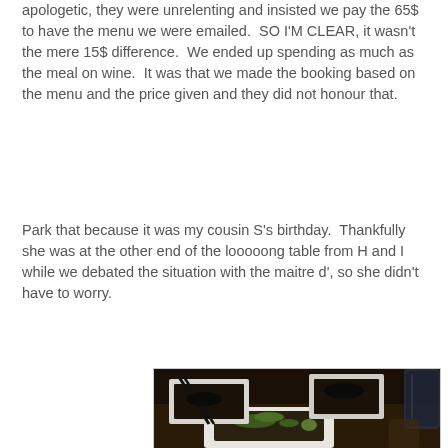apologetic, they were unrelenting and insisted we pay the 65$ to have the menu we were emailed.  SO I'M CLEAR, it wasn't the mere 15$ difference.  We ended up spending as much as the meal on wine.  It was that we made the booking based on the menu and the price given and they did not honour that.
Park that because it was my cousin S's birthday.  Thankfully she was at the other end of the looooong table from H and I while we debated the situation with the maitre d', so she didn't have to worry.
[Figure (photo): A dark restaurant scene showing white square plates with food garnished with herbs/greens, chopsticks visible, and glasses of drinks on a dark wooden table.]